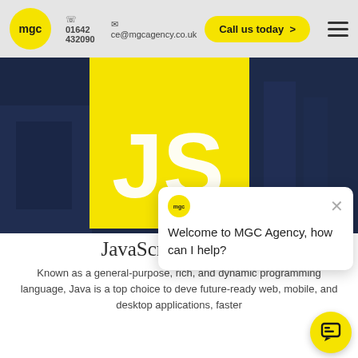01642 432090  ce@mgcagency.co.uk  Call us today >
[Figure (screenshot): Hero banner with yellow JS logo square on dark navy background, showing large white 'JS' text on yellow square, with MGC badge]
[Figure (other): Chat widget popup with MGC logo, X close button, and message 'Welcome to MGC Agency, how can I help?']
JavaScript Services
Known as a general-purpose, rich, and dynamic programming language, Java is a top choice to deve future-ready web, mobile, and desktop applications, faster